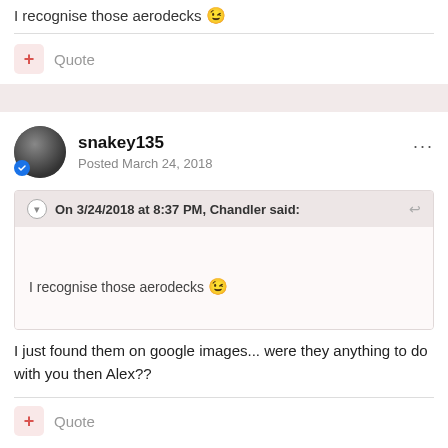I recognise those aerodecks 😉
Quote
snakey135
Posted March 24, 2018
On 3/24/2018 at 8:37 PM, Chandler said:
I recognise those aerodecks 😉
I just found them on google images... were they anything to do with you then Alex??
Quote